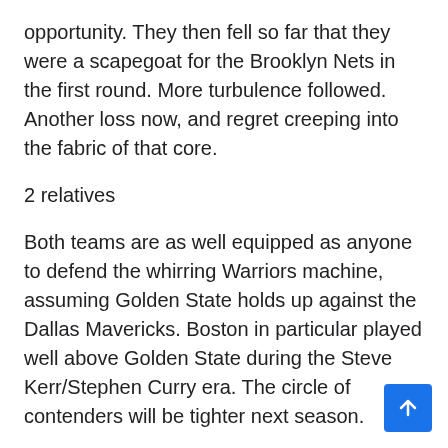opportunity. They then fell so far that they were a scapegoat for the Brooklyn Nets in the first round. More turbulence followed. Another loss now, and regret creeping into the fabric of that core.
2 relatives
Both teams are as well equipped as anyone to defend the whirring Warriors machine, assuming Golden State holds up against the Dallas Mavericks. Boston in particular played well above Golden State during the Steve Kerr/Stephen Curry era. The circle of contenders will be tighter next season.
And while it seems the Celtics have the edge — they're up 28 in four games and the best team in